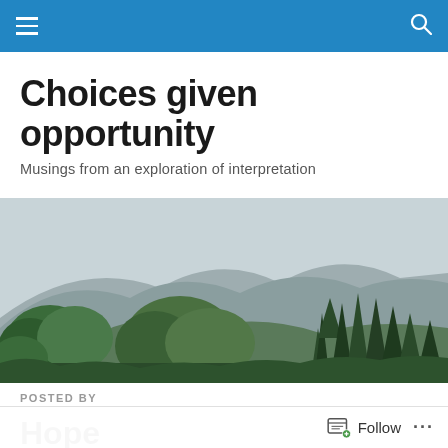Choices given opportunity
Musings from an exploration of interpretation
[Figure (photo): Wide landscape photograph showing lush green trees in the foreground with misty mountains in the background under an overcast sky.]
POSTED BY
Hope
Follow ...